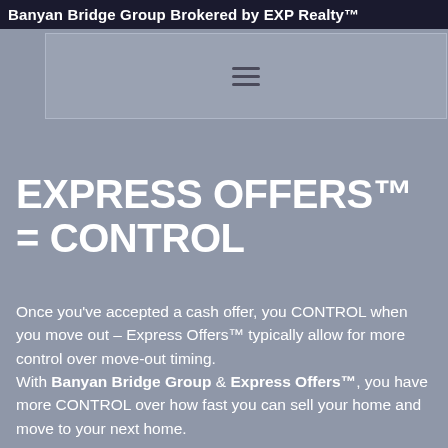Banyan Bridge Group Brokered by EXP Realty™
[Figure (other): Navigation bar with hamburger menu icon (three horizontal lines)]
EXPRESS OFFERS™ = CONTROL
Once you've accepted a cash offer, you CONTROL when you move out – Express Offers™ typically allow for more control over move-out timing.
With Banyan Bridge Group & Express Offers™, you have more CONTROL over how fast you can sell your home and move to your next home.